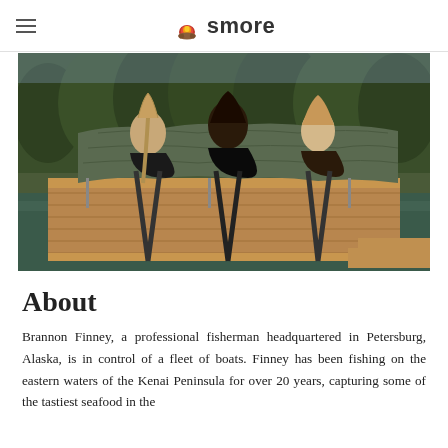smore
[Figure (photo): Three people sitting on a wooden dock with their backs to the camera, covered by a large tarp or canopy, surrounded by trees and water in an Alaskan outdoor setting.]
About
Brannon Finney, a professional fisherman headquartered in Petersburg, Alaska, is in control of a fleet of boats. Finney has been fishing on the eastern waters of the Kenai Peninsula for over 20 years, capturing some of the tastiest seafood in the